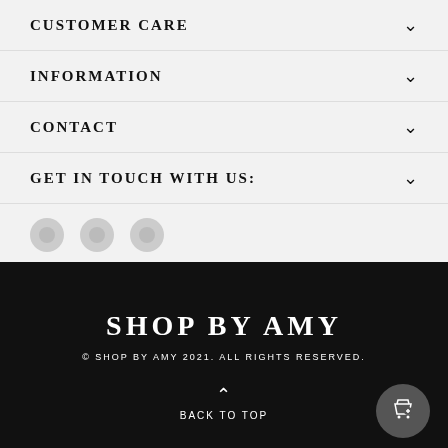CUSTOMER CARE
INFORMATION
CONTACT
GET IN TOUCH WITH US:
[Figure (other): Social media icon buttons (circular, light gray)]
SHOP BY AMY
© SHOP BY AMY 2021. ALL RIGHTS RESERVED.
BACK TO TOP